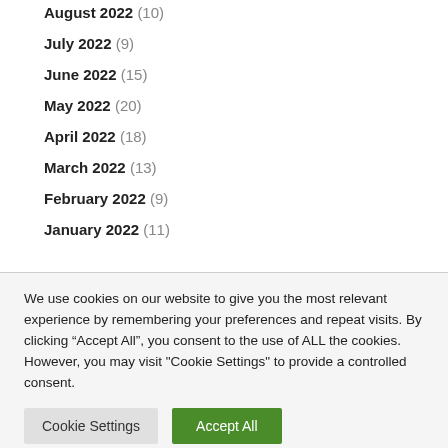August 2022 (10)
July 2022 (9)
June 2022 (15)
May 2022 (20)
April 2022 (18)
March 2022 (13)
February 2022 (9)
January 2022 (11)
We use cookies on our website to give you the most relevant experience by remembering your preferences and repeat visits. By clicking “Accept All”, you consent to the use of ALL the cookies. However, you may visit "Cookie Settings" to provide a controlled consent.
Cookie Settings | Accept All